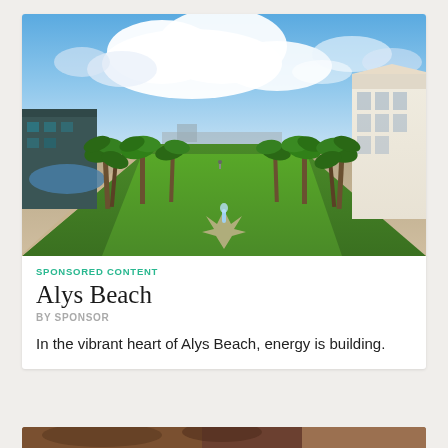[Figure (photo): Aerial view of Alys Beach community with green lawn, fountain, palm trees, buildings on left and right, and blue cloudy sky]
SPONSORED CONTENT
Alys Beach
BY SPONSOR
In the vibrant heart of Alys Beach, energy is building.
[Figure (photo): Partial view of a second image at bottom of page]